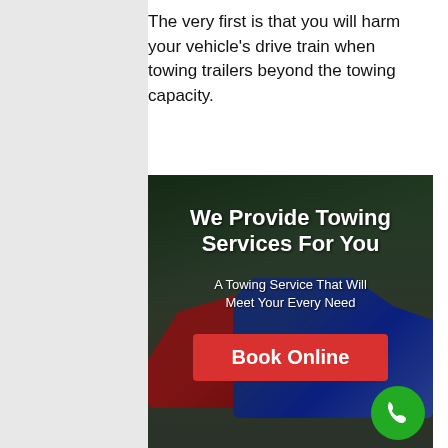The very first is that you will harm your vehicle's drive train when towing trailers beyond the towing capacity.
[Figure (infographic): Towing service advertisement image showing a red car being towed by a blue tow truck, with overlay text 'We Provide Towing Services For You', subtitle 'A Towing Service That Will Meet Your Every Need', and a red 'Book Online' button. A green phone button is in the lower right corner.]